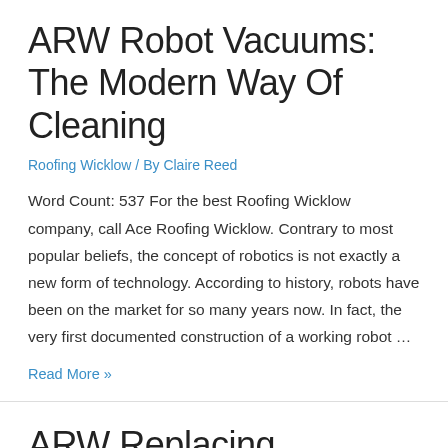ARW Robot Vacuums: The Modern Way Of Cleaning
Roofing Wicklow / By Claire Reed
Word Count: 537 For the best Roofing Wicklow company, call Ace Roofing Wicklow. Contrary to most popular beliefs, the concept of robotics is not exactly a new form of technology. According to history, robots have been on the market for so many years now. In fact, the very first documented construction of a working robot …
Read More »
ARW Replacing Chandelier Parts